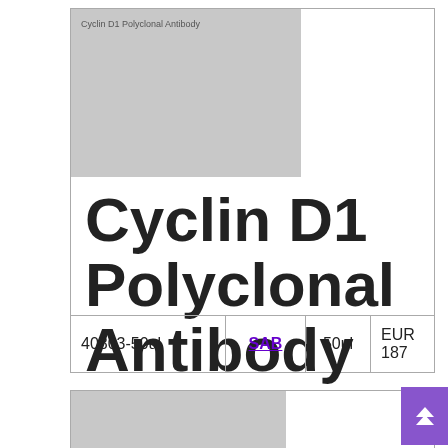[Figure (photo): Thumbnail image placeholder for Cyclin D1 Polyclonal Antibody product]
Cyclin D1 Polyclonal Antibody
| 40803-50ul | SAB | 50ul | EUR 187 |
| --- | --- | --- | --- |
[Figure (photo): Thumbnail image placeholder for Cyclin D1 Rabbit pAb product (partial, second card)]